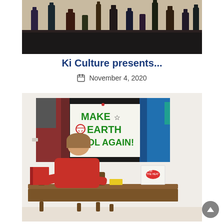[Figure (photo): Top photo showing a row of bottles/jars on a dark shelf against a light background]
Ki Culture presents...
November 4, 2020
[Figure (photo): Photo of an art gallery wall with a wide painting showing protesters holding a sign reading 'MAKE EARTH COOL AGAIN!' in green letters, and a person sitting at a wooden desk below with books and pamphlets]